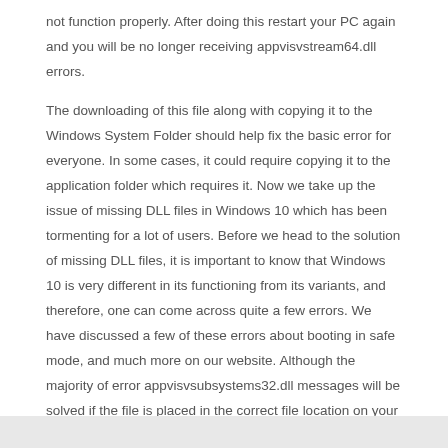not function properly. After doing this restart your PC again and you will be no longer receiving appvisvstream64.dll errors.
The downloading of this file along with copying it to the Windows System Folder should help fix the basic error for everyone. In some cases, it could require copying it to the application folder which requires it. Now we take up the issue of missing DLL files in Windows 10 which has been tormenting for a lot of users. Before we head to the solution of missing DLL files, it is important to know that Windows 10 is very different in its functioning from its variants, and therefore, one can come across quite a few errors. We have discussed a few of these errors about booting in safe mode, and much more on our website. Although the majority of error appvisvsubsystems32.dll messages will be solved if the file is placed in the correct file location on your hard drive, you should run a quick test to be sure.